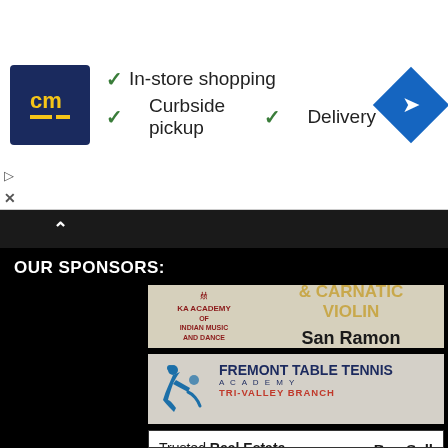[Figure (screenshot): Advertisement banner: CM logo, checkmark list (In-store shopping, Curbside pickup, Delivery), and navigation arrow diamond icon. Play and close buttons on left.]
OUR SPONSORS:
[Figure (illustration): KA Academy of Indian Music and Dance sponsor ad: Two Bharatanatyam dancer silhouettes in red, BHARANATYAM & CARNATIC VIOLIN in gold text, San Ramon, 678-462-9575]
[Figure (illustration): Fremont Table Tennis Academy Tri-Valley Branch sponsor ad: Blue figure playing table tennis, Fantastic Fun! Tournament Prep! Classes in San Ramon]
[Figure (illustration): Real Estate ad: Trusted Real Estate Experts in Tri-Valley, Buy Sell Invest, There to Help! Dipak Shah, with building logo]